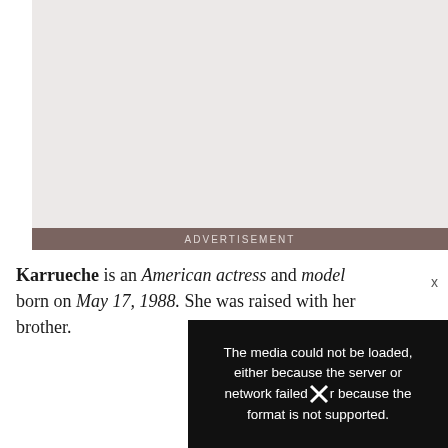[Figure (other): Advertisement placeholder box with light grey background and a dark brownish-grey bar at the bottom labeled ADVERTISEMENT]
Karrueche is an American actress and model born on May 17, 1988. She was raised with her brother.
The media could not be loaded, either because the server or network failed or because the format is not supported.